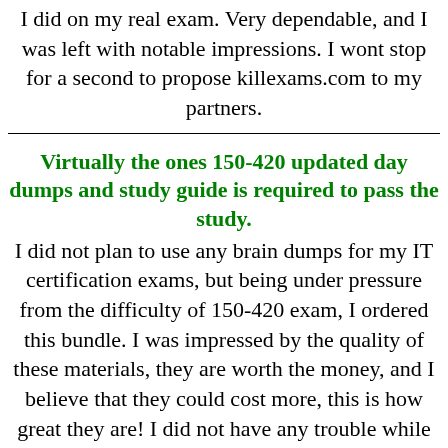I did on my real exam. Very dependable, and I was left with notable impressions. I wont stop for a second to propose killexams.com to my partners.
Virtually the ones 150-420 updated day dumps and study guide is required to pass the study.
I did not plan to use any brain dumps for my IT certification exams, but being under pressure from the difficulty of 150-420 exam, I ordered this bundle. I was impressed by the quality of these materials, they are worth the money, and I believe that they could cost more, this is how great they are! I did not have any trouble while taking my